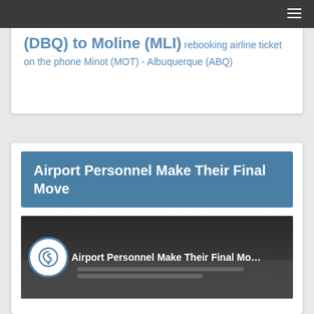Navigation bar with hamburger menu
(DBQ) to Moline (MLI) rebooking airline ticket on the phone Minot (MOT) - Albuquerque (ABQ)
Airport Personnel Make Their Final Move
[Figure (screenshot): Video thumbnail showing eagle logo and title 'Airport Personnel Make Their Final Move' on dark background with airport imagery]